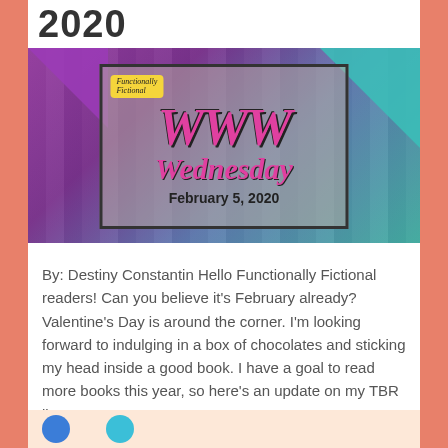2020
[Figure (illustration): WWW Wednesday banner image for February 5, 2020. Purple and teal gradient background with a bookshelf. Central framed area with 'Functionally Fictional' logo, large pink cursive 'WWW Wednesday' text, and bold subtitle 'February 5, 2020'.]
By: Destiny Constantin Hello Functionally Fictional readers! Can you believe it's February already? Valentine's Day is around the corner. I'm looking forward to indulging in a box of chocolates and sticking my head inside a good book. I have a goal to read more books this year, so here's an update on my TBR list...
Continue Reading →